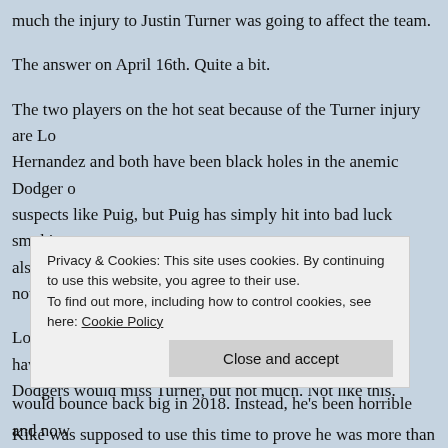much the injury to Justin Turner was going to affect the team.
The answer on April 16th. Quite a bit.
The two players on the hot seat because of the Turner injury are Lo… Hernandez and both have been black holes in the anemic Dodger o… suspects like Puig, but Puig has simply hit into bad luck smoking ma… also been missing but unlike Logan and Kiké, Corey has nothing to …
Logan and Kiké both had big post seasons and you could have easi… Dodgers would miss Turner, but not much. Not like this.
Kiké was supposed to use this time to prove he was more than a uti… could hit right hand pitching enough to warrant consideration for mo…
Privacy & Cookies: This site uses cookies. By continuing to use this website, you agree to their use. To find out more, including how to control cookies, see here: Cookie Policy
would bounce back big in 2018. Instead, he's been horrible and now…